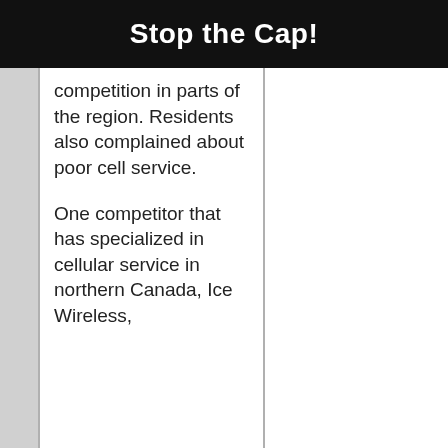Stop the Cap!
competition in parts of the region. Residents also complained about poor cell service.
One competitor that has specialized in cellular service in northern Canada, Ice Wireless,